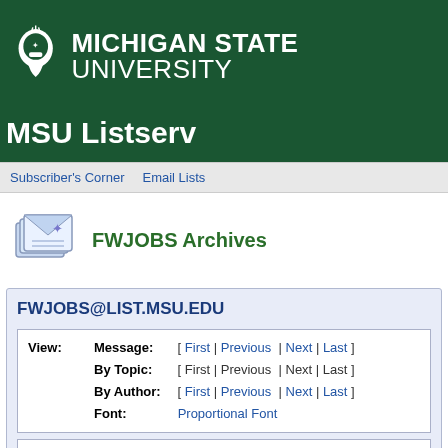[Figure (logo): Michigan State University logo with Spartan helmet and text MICHIGAN STATE UNIVERSITY on dark green background]
MSU Listserv
Subscriber's Corner   Email Lists
[Figure (illustration): Email/letters icon for FWJOBS Archives]
FWJOBS Archives
FWJOBS@LIST.MSU.EDU
View: Message: [ First | Previous | Next | Last ] By Topic: [ First | Previous | Next | Last ] By Author: [ First | Previous | Next | Last ] Font: Proportional Font
| Subject: | From: | Reply-To: |
| --- | --- | --- |
| Fwd: The Lower Columbia Estuary Partnership is hiri | "Schneider, Jim" <[log in to unmask]> | Schneider, Jim |
Subject: Fwd: The Lower Columbia Estuary Partnership is hiri
From: "Schneider, Jim" <[log in to unmask]>
Reply-To: Schneider, Jim